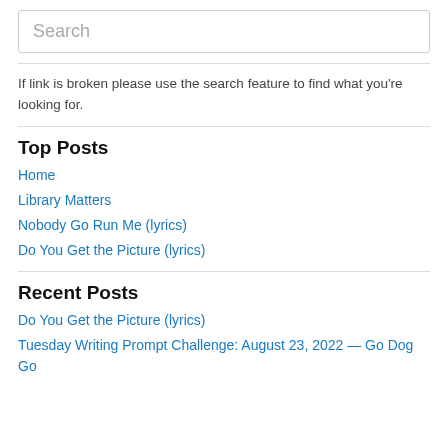Search
If link is broken please use the search feature to find what you're looking for.
Top Posts
Home
Library Matters
Nobody Go Run Me (lyrics)
Do You Get the Picture (lyrics)
Recent Posts
Do You Get the Picture (lyrics)
Tuesday Writing Prompt Challenge: August 23, 2022 — Go Dog Go